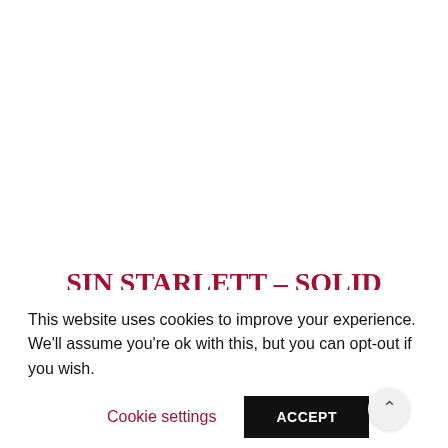SIN STARLETT – SOLID SOURCE OF STEEL (METALIZER RECORDS)
This website uses cookies to improve your experience. We'll assume you're ok with this, but you can opt-out if you wish.